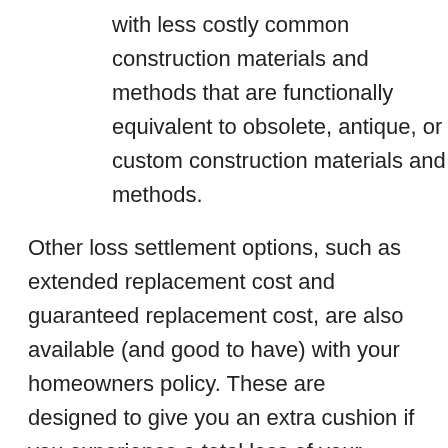with less costly common construction materials and methods that are functionally equivalent to obsolete, antique, or custom construction materials and methods.
Other loss settlement options, such as extended replacement cost and guaranteed replacement cost, are also available (and good to have) with your homeowners policy. These are designed to give you an extra cushion if you experience a total loss of your home. Generally speaking, they’re less likely to kick in if you experience a covered loss of only roof damage.
Not sure which loss settlement option you have? You can find your dwelling amount and policy limits on your declarations page. (If you’re an ERIE customer, that’s